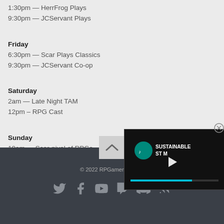1:30pm — HerrFrog Plays
9:30pm — JCServant Plays
Friday
6:30pm — Scar Plays Classics
9:30pm — JCServant Co-op
Saturday
2am — Late Night TAM
12pm – RPG Cast
Sunday
10am — Scar-nival of RPGs
1:30pm — HerrFrog Chills
12am — Shenanigans with Wheels
© 2022 RPGamer - Man...
[Figure (screenshot): Sustainable Stream video overlay with play button and progress bar]
[Figure (infographic): Social media icons: Twitter, Facebook, YouTube, Twitch, Discord, RSS]